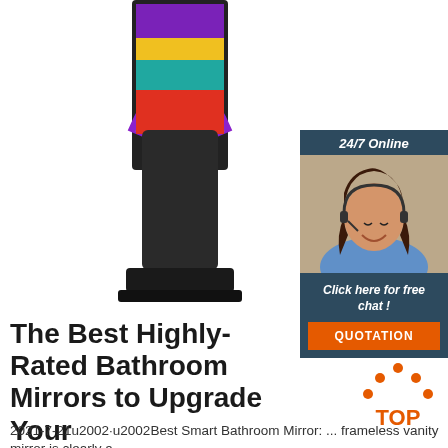[Figure (photo): A tall black digital signage kiosk/display with a colorful screen showing rainbow colors (purple, yellow, red, teal) on a white background]
[Figure (infographic): 24/7 Online chat widget with a customer service representative wearing a headset, with 'Click here for free chat!' text and an orange QUOTATION button]
The Best Highly-Rated Bathroom Mirrors to Upgrade Your
[Figure (logo): TOP icon with orange dots arranged in an arch above orange text reading TOP]
2021-7-21u2002·u2002Best Smart Bathroom Mirror: ... frameless vanity mirror is clearly a